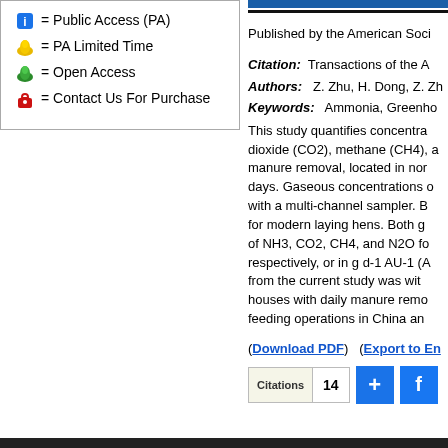= Public Access (PA)
= PA Limited Time
= Open Access
= Contact Us For Purchase
Published by the American Soci
Citation: Transactions of the A
Authors: Z. Zhu, H. Dong, Z. Zh
Keywords: Ammonia, Greenho
This study quantifies concentra dioxide (CO2), methane (CH4), a manure removal, located in nor days. Gaseous concentrations  with a multi-channel sampler. B for modern laying hens. Both g of NH3, CO2, CH4, and N2O fo respectively, or in g d-1 AU-1 (A from the current study was wit houses with daily manure remo feeding operations in China an
(Download PDF)   (Export to En
Citations  14